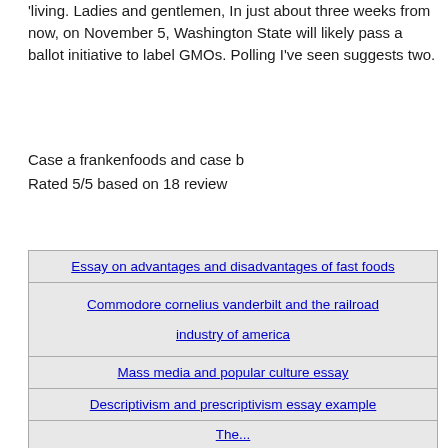'living. Ladies and gentlemen, In just about three weeks from now, on November 5, Washington State will likely pass a ballot initiative to label GMOs. Polling I've seen suggests two.
Case a frankenfoods and case b
Rated 5/5 based on 18 review
| Essay on advantages and disadvantages of fast foods |
| Commodore cornelius vanderbilt and the railroad industry of america |
| Mass media and popular culture essay |
| Descriptivism and prescriptivism essay example |
| The… |